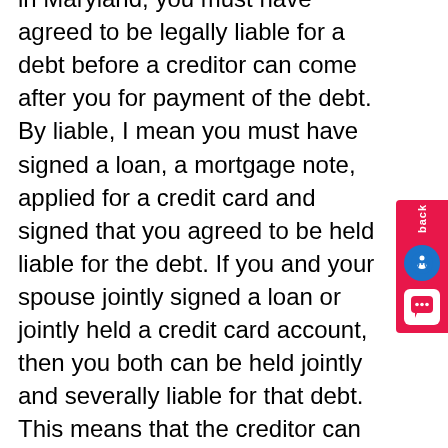in Maryland, you must have agreed to be legally liable for a debt before a creditor can come after you for payment of the debt. By liable, I mean you must have signed a loan, a mortgage note, applied for a credit card and signed that you agreed to be held liable for the debt. If you and your spouse jointly signed a loan or jointly held a credit card account, then you both can be held jointly and severally liable for that debt. This means that the creditor can come after you, your spouse, or both for the debt. Creditors are not required to pursue both of you equally, meaning they don't pursue you and your spouse equally for payment. Creditors aren't concerned about which one of you they get their money from; they are only concerned about getting the money due to them.